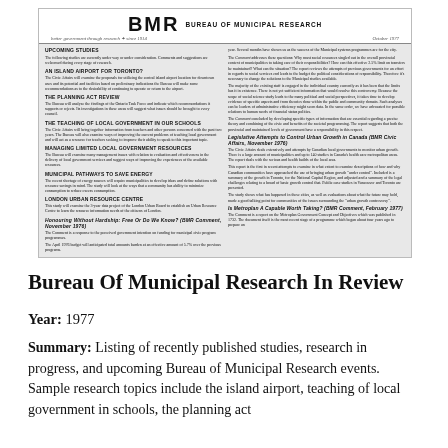[Figure (screenshot): Scanned page of BMR (Bureau of Municipal Research) newsletter from October 1977, showing two-column layout with section headings for upcoming studies, island airport, planning act review, teaching of local government in schools, local government resources, municipal pathways to save energy, London urban resource centre, and recently published research summaries.]
Bureau Of Municipal Research In Review
Year: 1977
Summary: Listing of recently published studies, research in progress, and upcoming Bureau of Municipal Research events. Sample research topics include the island airport, teaching of local government in schools, the planning act